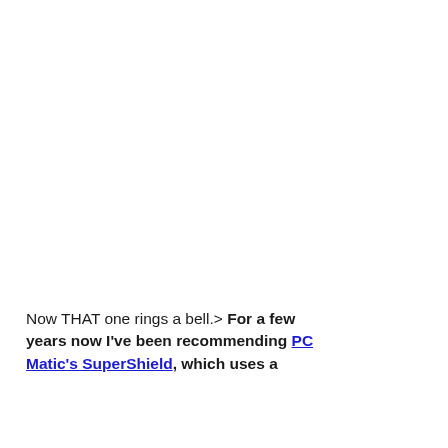Now THAT one rings a bell.> For a few years now I've been recommending PC Matic's SuperShield, which uses a